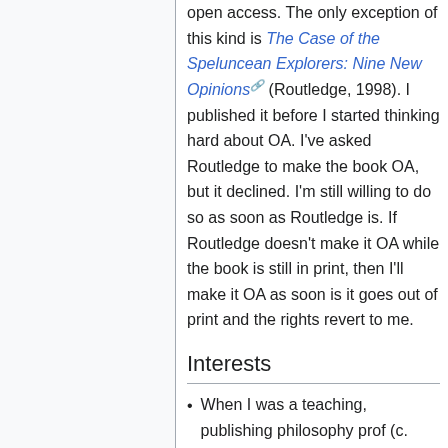open access. The only exception of this kind is The Case of the Speluncean Explorers: Nine New Opinions (Routledge, 1998). I published it before I started thinking hard about OA. I've asked Routledge to make the book OA, but it declined. I'm still willing to do so as soon as Routledge is. If Routledge doesn't make it OA while the book is still in print, then I'll make it OA as soon is it goes out of print and the rights revert to me.
Interests
When I was a teaching, publishing philosophy prof (c. 1982-2003), I specialized in Kant and German idealism; the history of modern